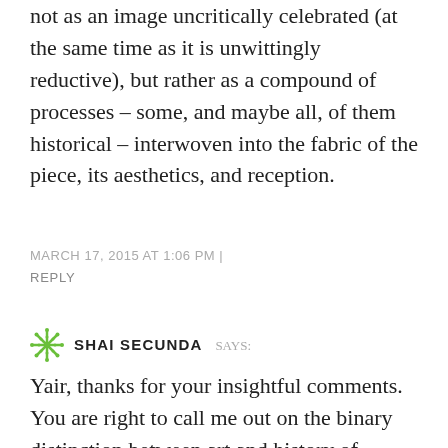not as an image uncritically celebrated (at the same time as it is unwittingly reductive), but rather as a compound of processes – some, and maybe all, of them historical – interwoven into the fabric of the piece, its aesthetics, and reception.
MARCH 17, 2015 AT 1:06 PM |
REPLY
SHAI SECUNDA says:
Yair, thanks for your insightful comments. You are right to call me out on the binary distinction between art and history of production, one I made largely (and